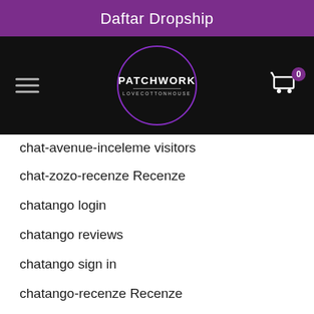Daftar Dropship
[Figure (logo): Patchwork Lovecottonhouse logo in a circle on black navigation bar with hamburger menu and cart icon showing 0 items]
chat-avenue-inceleme visitors
chat-zozo-recenze Recenze
chatango login
chatango reviews
chatango sign in
chatango-recenze Recenze
ChatAvenue review
ChatAvenue visitors